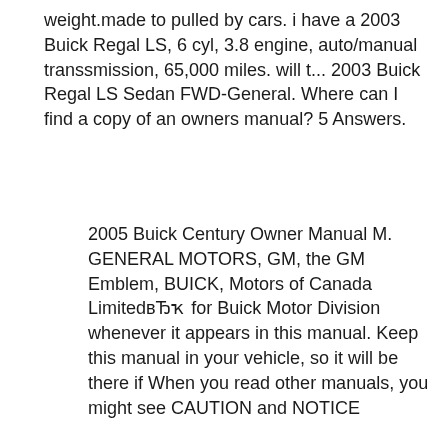weight.made to pulled by cars. i have a 2003 Buick Regal LS, 6 cyl, 3.8 engine, auto/manual transsmission, 65,000 miles. will t... 2003 Buick Regal LS Sedan FWD-General. Where can I find a copy of an owners manual? 5 Answers.
2005 Buick Century Owner Manual M. GENERAL MOTORS, GM, the GM Emblem, BUICK, Motors of Canada LimitedвЂҡ for Buick Motor Division whenever it appears in this manual. Keep this manual in your vehicle, so it will be there if When you read other manuals, you might see CAUTION and NOTICE